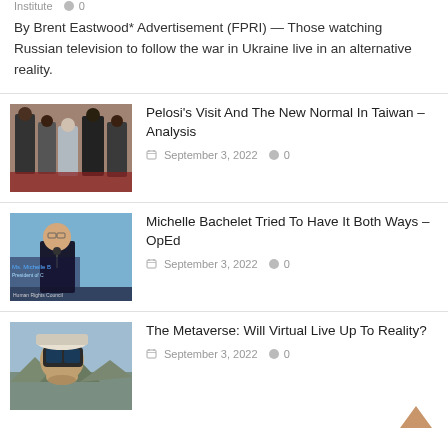Institute  0
By Brent Eastwood* Advertisement (FPRI) — Those watching Russian television to follow the war in Ukraine live in an alternative reality.
[Figure (photo): Photo of people in formal attire at what appears to be an official reception or ceremony, some wearing masks]
Pelosi’s Visit And The New Normal In Taiwan – Analysis
September 3, 2022  0
[Figure (photo): Photo of Ms. Michelle Bachelet, President of Chile, at a Human Rights Council podium]
Michelle Bachelet Tried To Have It Both Ways – OpEd
September 3, 2022  0
[Figure (photo): Photo of a man wearing a VR headset outdoors]
The Metaverse: Will Virtual Live Up To Reality?
September 3, 2022  0